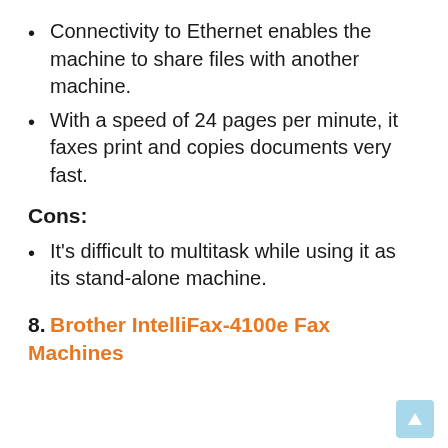Connectivity to Ethernet enables the machine to share files with another machine.
With a speed of 24 pages per minute, it faxes print and copies documents very fast.
Cons:
It's difficult to multitask while using it as its stand-alone machine.
8. Brother IntelliFax-4100e Fax Machines